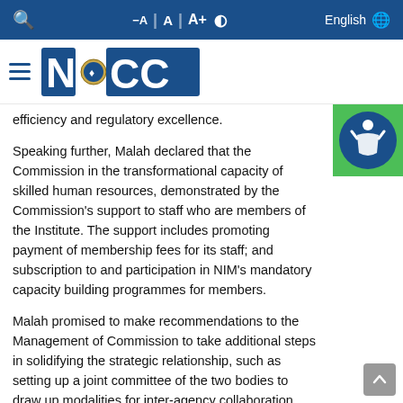NCC website toolbar with search, font size controls, and language selector (English)
[Figure (logo): NCC logo with hamburger menu icon]
efficiency and regulatory excellence.
Speaking further, Malah declared that the Commission in the transformational capacity of skilled human resources, demonstrated by the Commission’s support to staff who are members of the Institute. The support includes promoting payment of membership fees for its staff; and subscription to and participation in NIM’s mandatory capacity building programmes for members.
Malah promised to make recommendations to the Management of Commission to take additional steps in solidifying the strategic relationship, such as setting up a joint committee of the two bodies to draw up modalities for inter-agency collaboration.
Iheanacho, in his response, lauded NCC for its positive contribution to the telecommunications sector and also said a highly-skilled, highly professional workforce was needed to regulate the dynamic, competitive, and highly intellectual world of telecommunications. The NCC, Ihenacho observed,